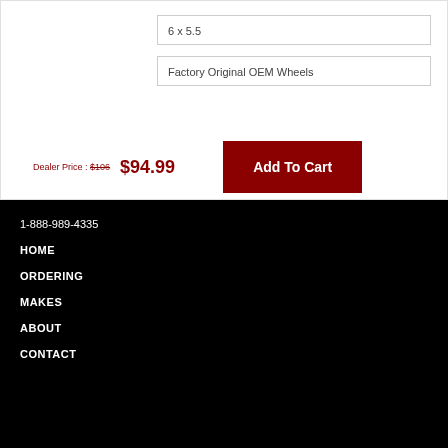6 x 5.5
Factory Original OEM Wheels
Dealer Price : $106  $94.99
Add To Cart
1-888-989-4335
HOME
ORDERING
MAKES
ABOUT
CONTACT